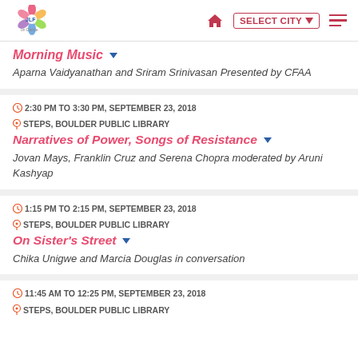JLF on Dance | SELECT CITY | Menu
Morning Music
Aparna Vaidyanathan and Sriram Srinivasan Presented by CFAA
2:30 PM TO 3:30 PM, SEPTEMBER 23, 2018   STEPS, BOULDER PUBLIC LIBRARY
Narratives of Power, Songs of Resistance
Jovan Mays, Franklin Cruz and Serena Chopra moderated by Aruni Kashyap
1:15 PM TO 2:15 PM, SEPTEMBER 23, 2018   STEPS, BOULDER PUBLIC LIBRARY
On Sister's Street
Chika Unigwe and Marcia Douglas in conversation
11:45 AM TO 12:25 PM, SEPTEMBER 23, 2018   STEPS, BOULDER PUBLIC LIBRARY